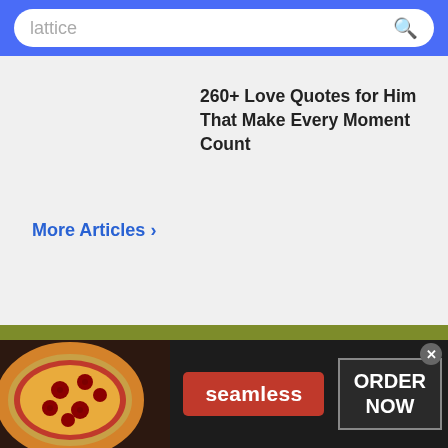lattice
260+ Love Quotes for Him That Make Every Moment Count
More Articles >
Lattice Sentence Examples
It was a bridge for two lines of railway with lattice girders
[Figure (photo): Advertisement banner for Seamless food delivery showing pizza image on left, red Seamless button in center, and ORDER NOW button on right with close button]